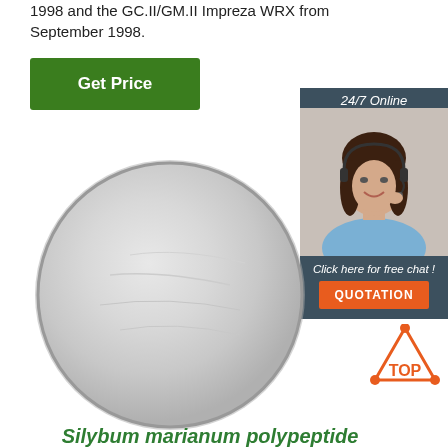1998 and the GC.II/GM.II Impreza WRX from September 1998.
[Figure (other): Green 'Get Price' button]
[Figure (other): Sidebar with '24/7 Online' label, customer service representative photo, 'Click here for free chat!' text, and orange QUOTATION button on dark blue/grey background]
[Figure (photo): Circular image of white/grey powder (Silybum marianum polypeptide) on white background]
[Figure (other): TOP icon — orange triangle with dots and 'TOP' text in orange]
Silybum marianum polypeptide